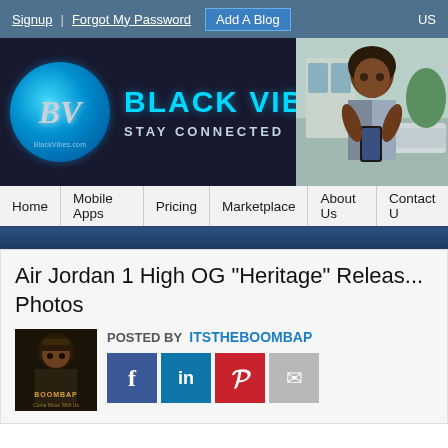Signup | Forgot My Password  Add A Blog  US
[Figure (logo): Black Vibes website banner with circular BV logo, 'BLACK VIBES - STAY CONNECTED' text, and photo of woman using phone]
Home | Mobile Apps | Pricing | Marketplace | About Us | Contact U
Air Jordan 1 High OG "Heritage" Releas... Photos
POSTED BY  ITSTHEBOOMBAP